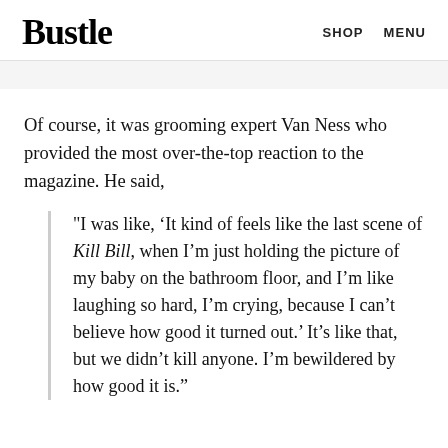Bustle  SHOP  MENU
Of course, it was grooming expert Van Ness who provided the most over-the-top reaction to the magazine. He said,
"I was like, ‘It kind of feels like the last scene of Kill Bill, when I’m just holding the picture of my baby on the bathroom floor, and I’m like laughing so hard, I’m crying, because I can’t believe how good it turned out.’ It’s like that, but we didn’t kill anyone. I’m bewildered by how good it is."